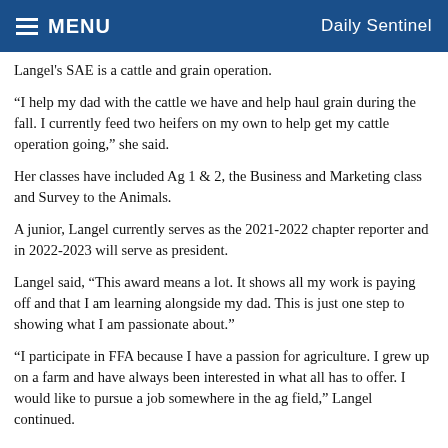MENU   Daily Sentinel
Langel's SAE is a cattle and grain operation.
“I help my dad with the cattle we have and help haul grain during the fall. I currently feed two heifers on my own to help get my cattle operation going,” she said.
Her classes have included Ag 1 & 2, the Business and Marketing class and Survey to the Animals.
A junior, Langel currently serves as the 2021-2022 chapter reporter and in 2022-2023 will serve as president.
Langel said, “This award means a lot. It shows all my work is paying off and that I am learning alongside my dad. This is just one step to showing what I am passionate about.”
“I participate in FFA because I have a passion for agriculture. I grew up on a farm and have always been interested in what all has to offer. I would like to pursue a job somewhere in the ag field,” Langel continued.